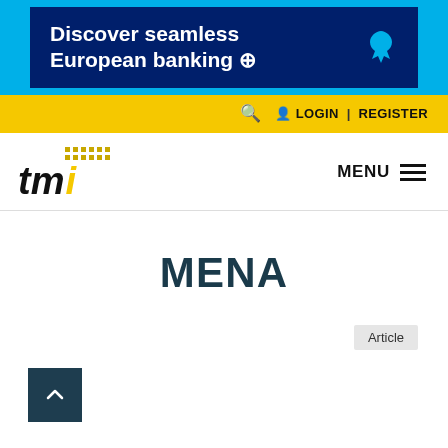[Figure (other): Barclays advertisement banner: dark blue background with text 'Discover seamless European banking →' and eagle logo, framed by light blue border]
🔍  👤 LOGIN | REGISTER
[Figure (logo): TMI logo: 'tmi' in black italic bold with yellow dot grid above and yellow 'i']
MENU ≡
MENA
Article